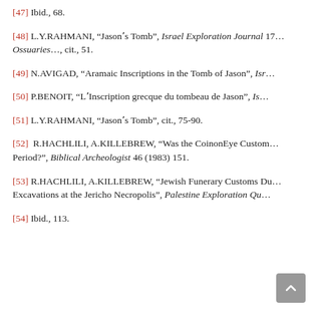[47] Ibid., 68.
[48] L.Y.RAHMANI, “Jason’s Tomb”, Israel Exploration Journal 17 Ossuaries..., cit., 51.
[49] N.AVIGAD, “Aramaic Inscriptions in the Tomb of Jason”, Israel Exploration Journal...
[50] P.BENOIT, “L’Inscription grecque du tombeau de Jason”, Israel Exploration Journal...
[51] L.Y.RAHMANI, “Jason’s Tomb”, cit., 75-90.
[52] R.HACHLILI, A.KILLEBREW, “Was the CoinonEye Custom... Period?”, Biblical Archeologist 46 (1983) 151.
[53] R.HACHLILI, A.KILLEBREW, “Jewish Funerary Customs Du... Excavations at the Jericho Necropolis”, Palestine Exploration Qu...
[54] Ibid., 113.